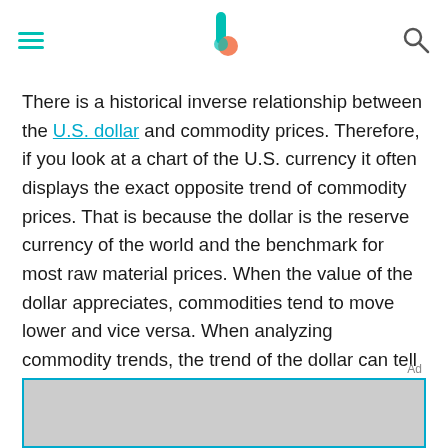[hamburger menu] [Investopedia logo] [search icon]
There is a historical inverse relationship between the U.S. dollar and commodity prices. Therefore, if you look at a chart of the U.S. currency it often displays the exact opposite trend of commodity prices. That is because the dollar is the reserve currency of the world and the benchmark for most raw material prices. When the value of the dollar appreciates, commodities tend to move lower and vice versa. When analyzing commodity trends, the trend of the dollar can tell you a lot about the future path of commodity prices.
Ad
[Figure (other): Advertisement placeholder box with teal border and gray fill]